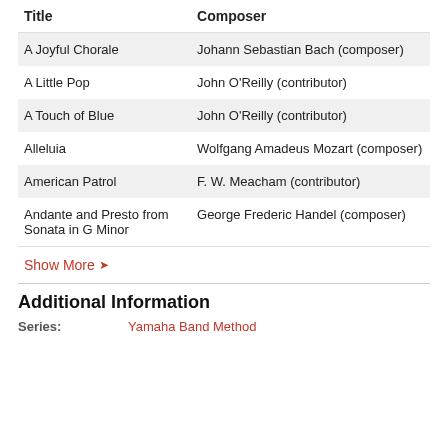| Title | Composer |
| --- | --- |
| A Joyful Chorale | Johann Sebastian Bach (composer) |
| A Little Pop | John O'Reilly (contributor) |
| A Touch of Blue | John O'Reilly (contributor) |
| Alleluia | Wolfgang Amadeus Mozart (composer) |
| American Patrol | F. W. Meacham (contributor) |
| Andante and Presto from Sonata in G Minor | George Frederic Handel (composer) |
Show More ▾
Additional Information
Series: Yamaha Band Method